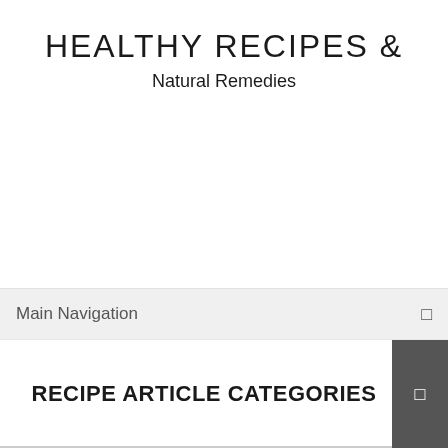HEALTHY RECIPES &
Natural Remedies
Main Navigation
RECIPE ARTICLE CATEGORIES